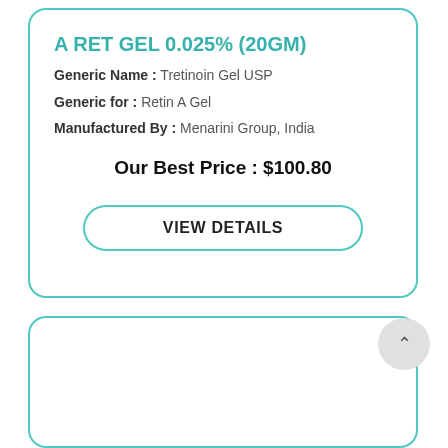A RET GEL 0.025% (20GM)
Generic Name : Tretinoin Gel USP
Generic for : Retin A Gel
Manufactured By : Menarini Group, India
Our Best Price : $100.80
VIEW DETAILS